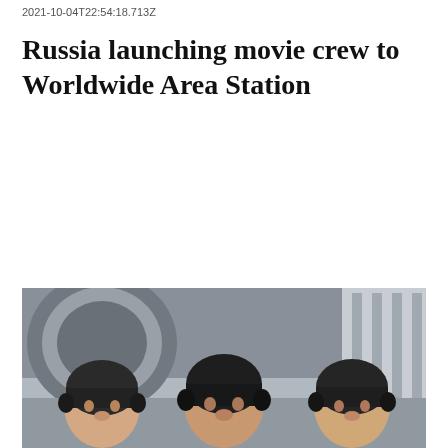2021-10-04T22:54:18.713Z
Russia launching movie crew to Worldwide Area Station
[Figure (photo): Three people in black flight caps/helmets sitting inside a vehicle or transport bus, photographed from a low angle. A large circular spacecraft or rocket component is visible in the background on the left, and metal structural equipment on the right.]